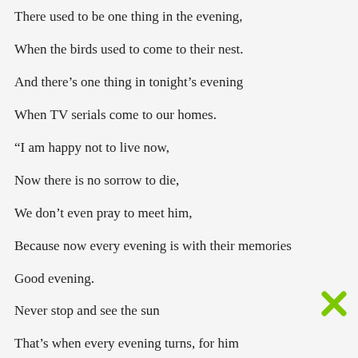There used to be one thing in the evening,
When the birds used to come to their nest.
And there’s one thing in tonight’s evening
When TV serials come to our homes.
“I am happy not to live now,
Now there is no sorrow to die,
We don’t even pray to meet him,
Because now every evening is with their memories
Good evening.
Never stop and see the sun
That’s when every evening turns, for him
[Figure (illustration): Green X / cross icon in bottom-right corner]